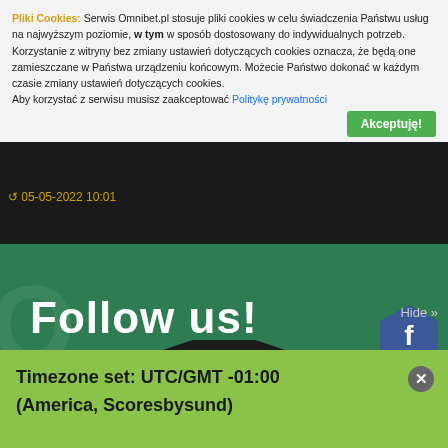Pliki Cookies: Serwis Omnibet.pl stosuje pliki cookies w celu świadczenia Państwu usług na najwyższym poziomie, w tym w sposób dostosowany do indywidualnych potrzeb. Korzystanie z witryny bez zmiany ustawień dotyczących cookies oznacza, że będą one zamieszczane w Państwa urządzeniu końcowym. Możecie Państwo dokonać w każdym czasie zmiany ustawień dotyczących cookies. Aby korzystać z serwisu musisz zaakceptować Politykę prywatności
Akceptuję!
05-05-2022 10:01
[Figure (screenshot): Omnibet.pl website background with green and dark sections, social media hexagon icons (Facebook, Twitter, Instagram, Share), and 'Follow us!' text]
Hide »
Timezone set: UTC/GMT -01:00 (America, Scoresbysund)